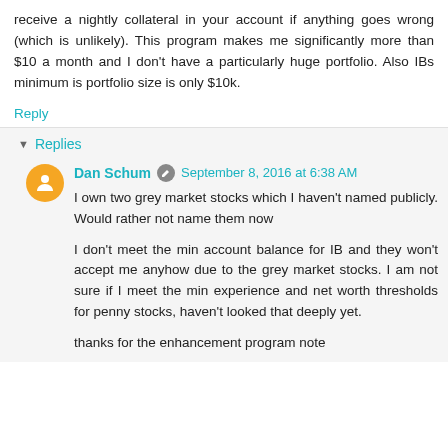receive a nightly collateral in your account if anything goes wrong (which is unlikely). This program makes me significantly more than $10 a month and I don't have a particularly huge portfolio. Also IBs minimum is portfolio size is only $10k.
Reply
Replies
Dan Schum  September 8, 2016 at 6:38 AM
I own two grey market stocks which I haven't named publicly. Would rather not name them now
I don't meet the min account balance for IB and they won't accept me anyhow due to the grey market stocks. I am not sure if I meet the min experience and net worth thresholds for penny stocks, haven't looked that deeply yet.
thanks for the enhancement program note